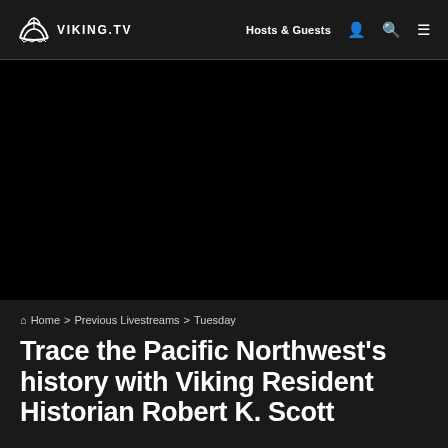VIKING.TV | Hosts & Guests
[Figure (other): Dark black hero image area, video thumbnail placeholder]
🏠 Home > Previous Livestreams > Tuesday
Trace the Pacific Northwest's history with Viking Resident Historian Robert K. Scott